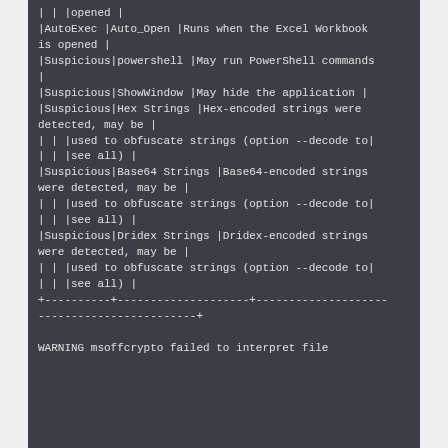| | |opened |
|AutoExec |Auto_Open |Runs when the Excel Workbook is opened |
|Suspicious|powershell |May run PowerShell commands |
|Suspicious|ShowWindow |May hide the application |
|Suspicious|Hex Strings |Hex-encoded strings were detected, may be |
| | |used to obfuscate strings (option --decode to|
| | |see all) |
|Suspicious|Base64 Strings |Base64-encoded strings were detected, may be |
| | |used to obfuscate strings (option --decode to|
| | |see all) |
|Suspicious|Dridex Strings |Dridex-encoded strings were detected, may be |
| | |used to obfuscate strings (option --decode to|
| | |see all) |
+----------+--------------------+--------------------------------------------+

WARNING msoffcrypto failed to interpret file